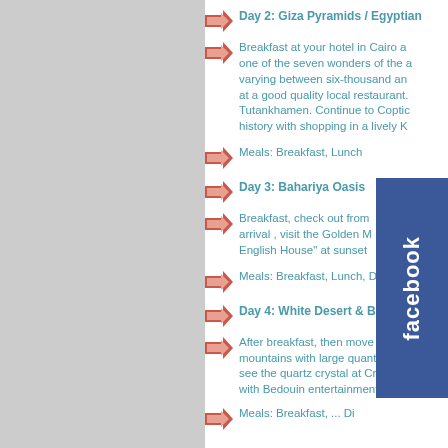Day 2: Giza Pyramids / Egyptian
Breakfast at your hotel in Cairo a one of the seven wonders of the a varying between six-thousand an at a good quality local restaurant. Tutankhamen. Continue to Coptic history with shopping in a lively K
Meals: Breakfast, Lunch
Day 3: Bahariya Oasis
Breakfast, check out from arrival , visit the Golden M English House" at sunset
Meals: Breakfast, Lunch, Dinner
Day 4: White Desert & Black Des
After breakfast, then move onto t mountains with large quantities o see the quartz crystal at Crystal M with Bedouin entertainment.
Meals: Breakfast, ...